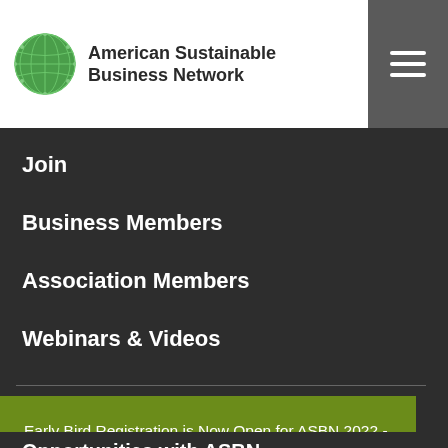American Sustainable Business Network
Join
Business Members
Association Members
Webinars & Videos
Early Bird Registration is Now Open for ASBN 2022 - Click learn more and register today!  Learn more
Got it!
Opportunities with ASBN